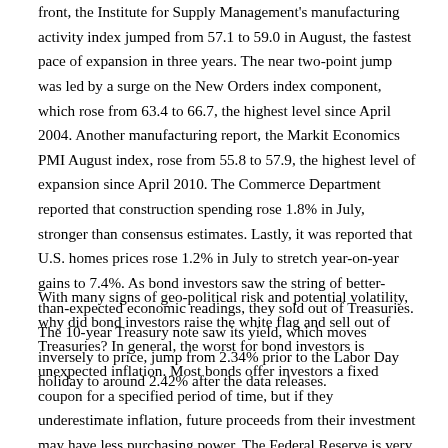front, the Institute for Supply Management's manufacturing activity index jumped from 57.1 to 59.0 in August, the fastest pace of expansion in three years. The near two-point jump was led by a surge on the New Orders index component, which rose from 63.4 to 66.7, the highest level since April 2004. Another manufacturing report, the Markit Economics PMI August index, rose from 55.8 to 57.9, the highest level of expansion since April 2010. The Commerce Department reported that construction spending rose 1.8% in July, stronger than consensus estimates. Lastly, it was reported that U.S. homes prices rose 1.2% in July to stretch year-on-year gains to 7.4%. As bond investors saw the string of better-than-expected economic readings, they sold out of Treasuries. The 10-year Treasury note saw its yield, which moves inversely to price, jump from 2.34% prior to the Labor Day holiday to around 2.42% after the data releases.
With many signs of geo-political risk and potential volatility, why did bond investors raise the white flag and sell out of Treasuries? In general, the worst for bond investors is unexpected inflation. Most bonds offer investors a fixed coupon for a specified period of time, but if they underestimate inflation, future proceeds from their investment may have less purchasing power. The Federal Reserve is very aware of this concern and as part of its interest rate policy, can